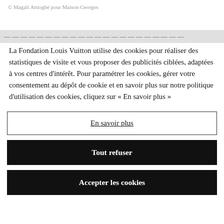© Magali Attiogbé pour Maison Georges
La Fondation Louis Vuitton utilise des cookies pour réaliser des statistiques de visite et vous proposer des publicités ciblées, adaptées à vos centres d'intérêt. Pour paramétrer les cookies, gérer votre consentement au dépôt de cookie et en savoir plus sur notre politique d'utilisation des cookies, cliquez sur « En savoir plus »
En savoir plus
Tout refuser
Accepter les cookies